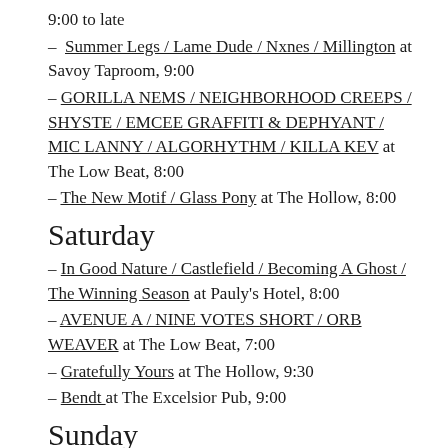9:00 to late
– Summer Legs / Lame Dude / Nxnes / Millington at Savoy Taproom, 9:00
– GORILLA NEMS / NEIGHBORHOOD CREEPS / SHYSTE / EMCEE GRAFFITI & DEPHYANT / MIC LANNY / ALGORHYTHM / KILLA KEV at The Low Beat, 8:00
– The New Motif / Glass Pony at The Hollow, 8:00
Saturday
– In Good Nature / Castlefield / Becoming A Ghost / The Winning Season at Pauly's Hotel, 8:00
– AVENUE A / NINE VOTES SHORT / ORB WEAVER at The Low Beat, 7:00
– Gratefully Yours at The Hollow, 9:30
– Bendt at The Excelsior Pub, 9:00
Sunday